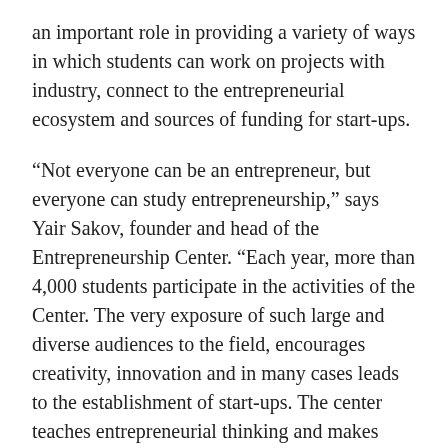an important role in providing a variety of ways in which students can work on projects with industry, connect to the entrepreneurial ecosystem and sources of funding for start-ups.
“Not everyone can be an entrepreneur, but everyone can study entrepreneurship,” says Yair Sakov, founder and head of the Entrepreneurship Center. “Each year, more than 4,000 students participate in the activities of the Center. The very exposure of such large and diverse audiences to the field, encourages creativity, innovation and in many cases leads to the establishment of start-ups. The center teaches entrepreneurial thinking and makes entrepreneurship tools accessible to students in all faculties, both as part of academic courses and in workshops, incubators and accelerators.”